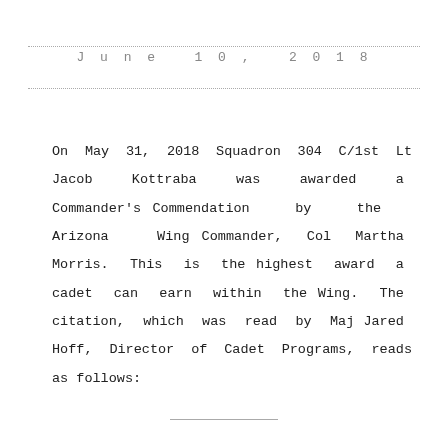June 10, 2018
On May 31, 2018 Squadron 304 C/1st Lt Jacob Kottraba was awarded a Commander's Commendation by the Arizona Wing Commander, Col Martha Morris. This is the highest award a cadet can earn within the Wing. The citation, which was read by Maj Jared Hoff, Director of Cadet Programs, reads as follows: